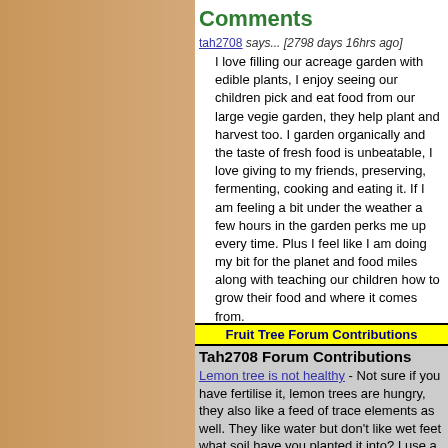Comments
tah2708 says... [2798 days 16hrs ago]
I love filling our acreage garden with edible plants, I enjoy seeing our children pick and eat food from our large vegie garden, they help plant and harvest too. I garden organically and the taste of fresh food is unbeatable, I love giving to my friends, preserving, fermenting, cooking and eating it. If I am feeling a bit under the weather a few hours in the garden perks me up every time. Plus I feel like I am doing my bit for the planet and food miles along with teaching our children how to grow their food and where it comes from.
* You need your own My Edibles Page to contribute  Quick & Easy
Fruit Tree Forum Contributions
Tah2708 Forum Contributions
Lemon tree is not healthy - Not sure if you have fertilise it, lemon trees are hungry, they also like a feed of trace elements as well. They like water but don't like wet feet what soil have you planted it into? I use a product called Active 8, its by Rocky Point and comes in ..2773 days 16hrs